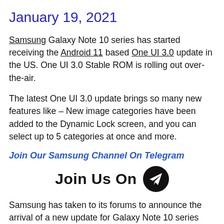January 19, 2021
Samsung Galaxy Note 10 series has started receiving the Android 11 based One UI 3.0 update in the US. One UI 3.0 Stable ROM is rolling out over-the-air.
The latest One UI 3.0 update brings so many new features like – New image categories have been added to the Dynamic Lock screen, and you can select up to 5 categories at once and more.
Join Our Samsung Channel On Telegram
[Figure (illustration): Join Us On Telegram banner with Telegram paper-plane icon on black circle]
Samsung has taken to its forums to announce the arrival of a new update for Galaxy Note 10 series users in the US. The firmware version for the update is N970USOU5ETL |